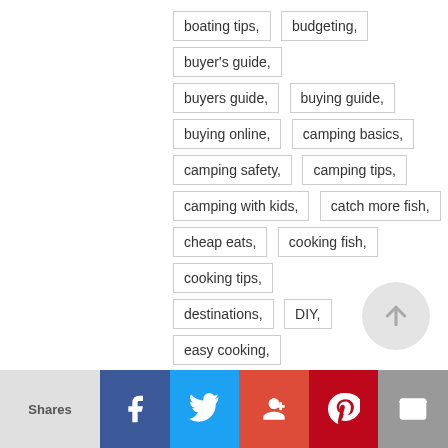boating tips,
budgeting,
buyer's guide,
buyers guide,
buying guide,
buying online,
camping basics,
camping safety,
camping tips,
camping with kids,
catch more fish,
cheap eats,
cooking fish,
cooking tips,
destinations,
DIY,
easy cooking,
fishing advice,
fishing basics,
fishing beginner tips,
fishing reels,
fishing skills,
fishing spots,
fishing techniques,
fishing tips,
fish species,
glamping,
healthier lifestyle,
healthy eating,
Shares